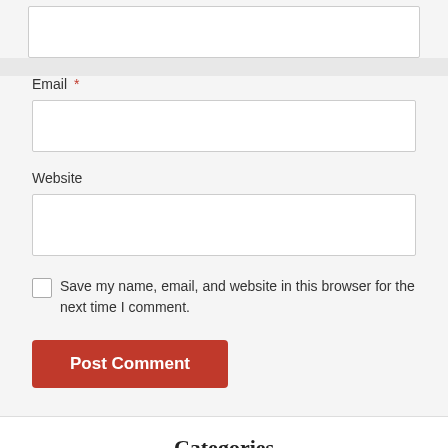[text input box — top, partially visible]
Email *
[email input box]
Website
[website input box]
Save my name, email, and website in this browser for the next time I comment.
Post Comment
Categories
Auto